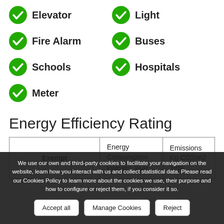Elevator
Light
Fire Alarm
Buses
Schools
Hospitals
Meter
Energy Efficiency Rating
|  | Energy Consumption kWh/m² Year | Emissions Kg CO2/m2 Year |
| --- | --- | --- |
| Exempt |  |  |
We use our own and third-party cookies to facilitate your navigation on the website, learn how you interact with us and collect statistical data. Please read our Cookies Policy to learn more about the cookies we use, their purpose and how to configure or reject them, if you consider it so.
QUESTION?